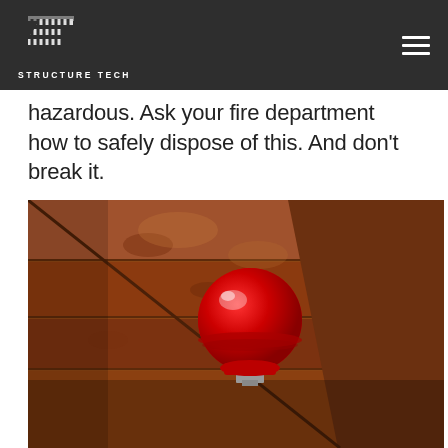STRUCTURE TECH
hazardous. Ask your fire department how to safely dispose of this. And don't break it.
[Figure (photo): A red spherical fire suppression sprinkler head mounted on wooden rafters/beams in an attic space. The bulb is bright red, mounted with a metal bracket against brown wood framing.]